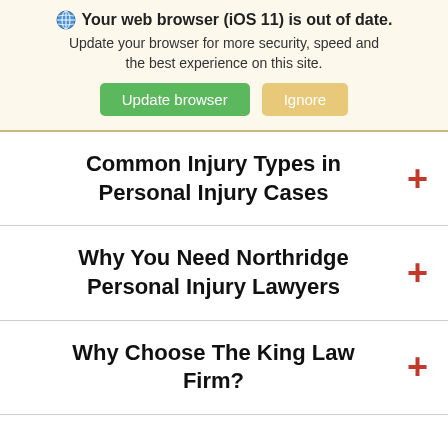🌐 Your web browser (iOS 11) is out of date. Update your browser for more security, speed and the best experience on this site. Update browser | Ignore
Common Injury Types in Personal Injury Cases
Why You Need Northridge Personal Injury Lawyers
Why Choose The King Law Firm?